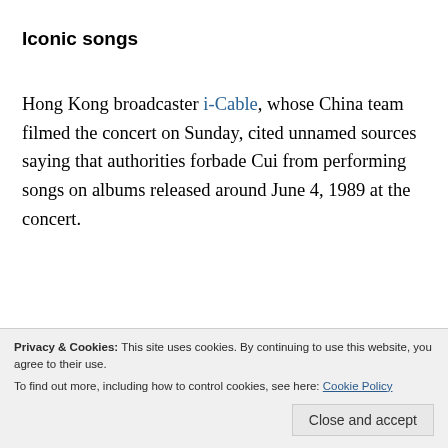Iconic songs
Hong Kong broadcaster i-Cable, whose China team filmed the concert on Sunday, cited unnamed sources saying that authorities forbade Cui from performing songs on albums released around June 4, 1989 at the concert.
But around half of the songs he performed were from albums released around that time, the news
March. But other iconic songs were missing from
Privacy & Cookies: This site uses cookies. By continuing to use this website, you agree to their use.
To find out more, including how to control cookies, see here: Cookie Policy